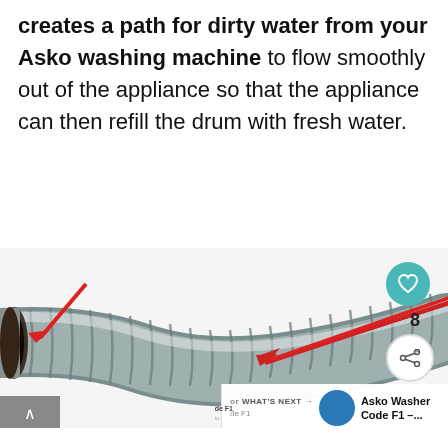creates a path for dirty water from your Asko washing machine to flow smoothly out of the appliance so that the appliance can then refill the drum with fresh water.
[Figure (photo): A grey corrugated washing machine drain hose with a red arrow pointing to the open end of the hose, with a like button (heart icon), count of 8, share button, and a 'What's Next' card showing 'Asko Washer Code F1 –...' in the corner.]
[Figure (screenshot): Advertisement bar at the bottom showing Office Depot/OfficeMax logo, checkmarks for 'In-store shopping' and 'Curbside pickup', a blue navigation diamond icon, and a dark right panel.]